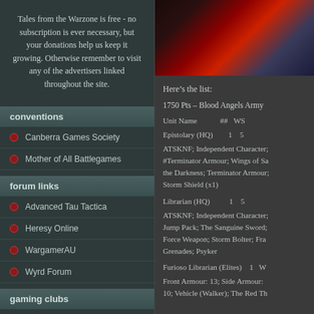Tales from the Warzone is free - no subscription is ever necessary, but your donations help us keep it growing. Otherwise remember to visit any of the advertisers linked throughout the site.
conventions
Canberra Games Society
Mother of All Battlegames
forum links
Advanced Tau Tactica
Heresy Online
WargamerAU
Wyrd Forum
gaming clubs
Southern Battle Gamers
[Figure (photo): Red armored Space Marine with weapon, sci-fi wargaming miniature photo]
Here’s the list:
1750 Pts – Blood Angels Army
Unit Name    ##  WS
Epistolary (HQ)    1   5
ATSKNF; Independent Character; #Terminator Armour; Wings of Sa the Darkness; Terminator Armour; Storm Shield (x1)
Librarian (HQ)    1   5
ATSKNF; Independent Character; Jump Pack; The Sanguine Sword; Force Weapon; Storm Bolter; Fra Grenades; Psyker
Furioso Librarian (Elites)    1   W
Front Armour: 13; Side Armour: 10; Vehicle (Walker); The Red Th